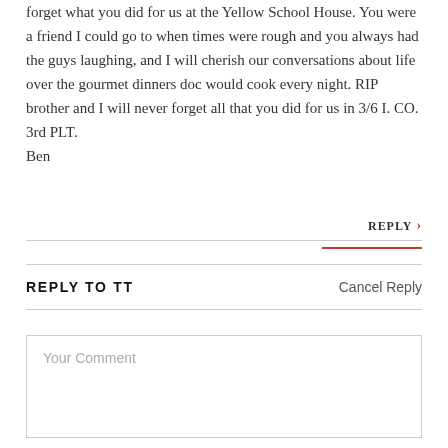forget what you did for us at the Yellow School House. You were a friend I could go to when times were rough and you always had the guys laughing, and I will cherish our conversations about life over the gourmet dinners doc would cook every night. RIP brother and I will never forget all that you did for us in 3/6 I. CO. 3rd PLT.
Ben
REPLY ›
REPLY TO TT
Cancel Reply
Your Comment